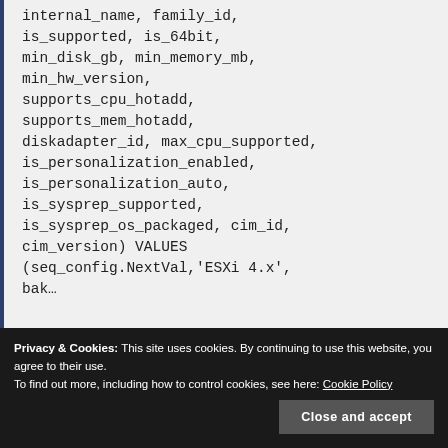internal_name, family_id,
is_supported, is_64bit,
min_disk_gb, min_memory_mb,
min_hw_version,
supports_cpu_hotadd,
supports_mem_hotadd,
diskadapter_id, max_cpu_supported,
is_personalization_enabled,
is_personalization_auto,
is_sysprep_supported,
is_sysprep_os_packaged, cim_id,
cim_version) VALUES
(seq_config.NextVal,'ESXi 4.x',
bak...
Privacy & Cookies: This site uses cookies. By continuing to use this website, you agree to their use.
To find out more, including how to control cookies, see here: Cookie Policy